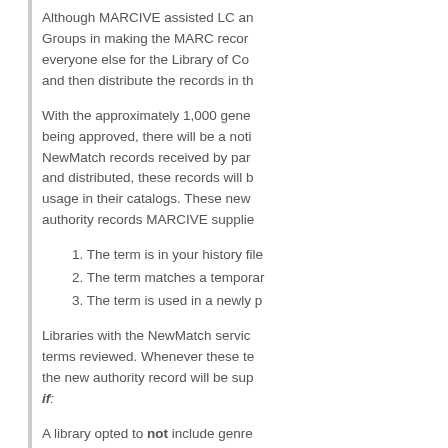Although MARCIVE assisted LC and Groups in making the MARC records everyone else for the Library of Con and then distribute the records in th
With the approximately 1,000 gener being approved, there will be a noti NewMatch records received by part and distributed, these records will b usage in their catalogs. These new authority records MARCIVE supplie
1. The term is in your history file
2. The term matches a temporar
3. The term is used in a newly p
Libraries with the NewMatch service terms reviewed. Whenever these te the new authority record will be sup if:
A library opted to not include genre
1. They do not have NewMatch c
2. The genre terms were matche